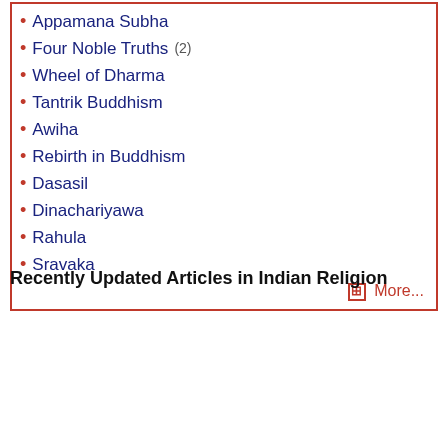Appamana Subha
Four Noble Truths (2)
Wheel of Dharma
Tantrik Buddhism
Awiha
Rebirth in Buddhism
Dasasil
Dinachariyawa
Rahula
Sravaka
⊞ More...
Recently Updated Articles in Indian Religion